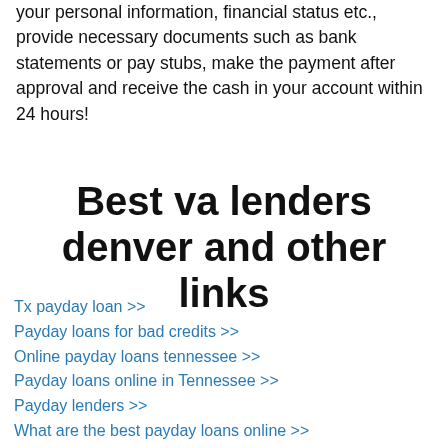your personal information, financial status etc., provide necessary documents such as bank statements or pay stubs, make the payment after approval and receive the cash in your account within 24 hours!
Best va lenders denver and other links
Tx payday loan >>
Payday loans for bad credits >>
Online payday loans tennessee >>
Payday loans online in Tennessee >>
Payday lenders >>
What are the best payday loans online >>
Payday loan with no credit check near me >>
Online payday loans florida >>